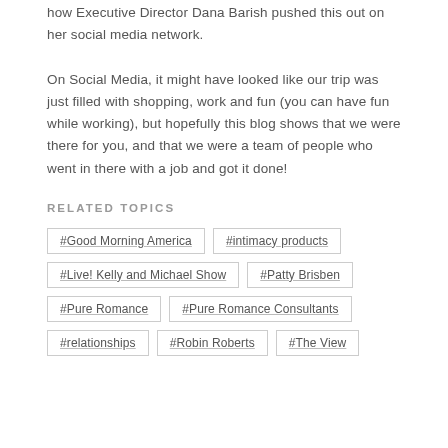how Executive Director Dana Barish pushed this out on her social media network.
On Social Media, it might have looked like our trip was just filled with shopping, work and fun (you can have fun while working), but hopefully this blog shows that we were there for you, and that we were a team of people who went in there with a job and got it done!
RELATED TOPICS
#Good Morning America
#intimacy products
#Live! Kelly and Michael Show
#Patty Brisben
#Pure Romance
#Pure Romance Consultants
#relationships
#Robin Roberts
#The View